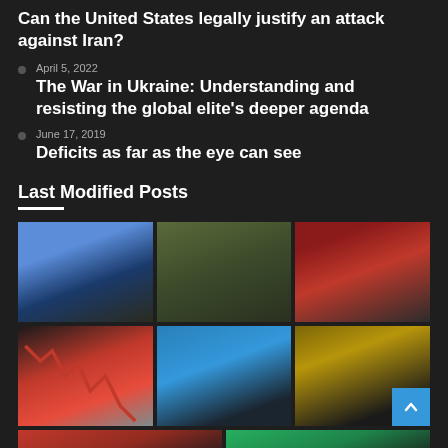Can the United States legally justify an attack against Iran?
April 5, 2022
The War in Ukraine: Understanding and resisting the global elite’s deeper agenda
June 17, 2019
Deficits as far as the eye can see
Last Modified Posts
[Figure (photo): Parliament building against blue sky]
[Figure (photo): Group of soldiers in camouflage]
[Figure (photo): Military ceremony with crowd]
[Figure (photo): Stock market chart with red downward arrow]
[Figure (photo): Modern glass office building]
[Figure (photo): UN Security Council chamber]
[Figure (photo): Red and brown striped partial image]
[Figure (photo): Green partial image]